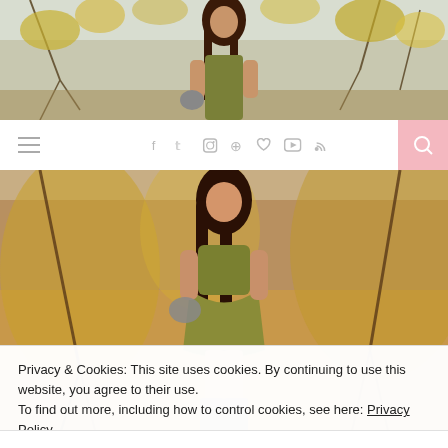[Figure (photo): Top portion of a fashion/lifestyle blog. Top image shows a woman with long dark hair in an outdoor autumn setting with yellow-leafed trees. She is wearing a short olive/khaki dress, grey over-the-knee boots, and holding a grey bag. Below is a white navigation bar with hamburger menu icon on the left, social media icons (Facebook, Twitter, Instagram, Pinterest, heart, YouTube, RSS) in the center, and a pink search button on the right. The main large photo continues below showing the woman standing on a dirt path surrounded by dry golden autumn brush.]
Privacy & Cookies: This site uses cookies. By continuing to use this website, you agree to their use.
To find out more, including how to control cookies, see here: Privacy Policy
[Figure (other): Advertisement banner for Leesburg store showing black circular logo with infinity-like symbol, store name 'Leesburg', 'OPEN 10AM–9PM', address '241 Fort Evans Rd NE, Leesburg', blue navigation arrow icon, and a close (X) button with small logo watermark.]